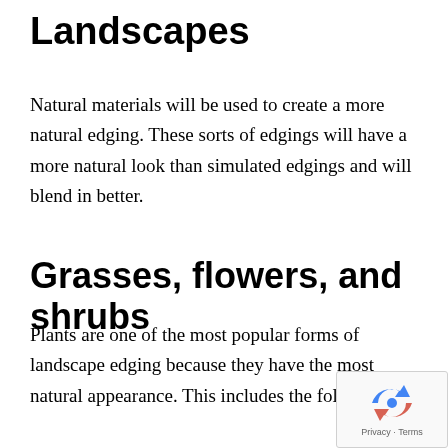Landscapes
Natural materials will be used to create a more natural edging. These sorts of edgings will have a more natural look than simulated edgings and will blend in better.
Grasses, flowers, and shrubs
Plants are one of the most popular forms of landscape edging because they have the most natural appearance. This includes the following:
[Figure (logo): reCAPTCHA badge with Privacy and Terms links]